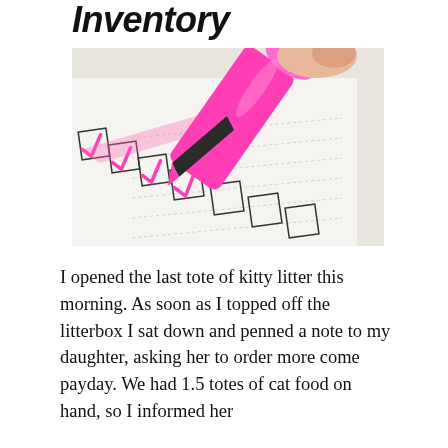Inventory
[Figure (photo): A pink highlighter marker checking off checkboxes on a checklist form, photographed at an angle on a white paper.]
I opened the last tote of kitty litter this morning. As soon as I topped off the litterbox I sat down and penned a note to my daughter, asking her to order more come payday. We had 1.5 totes of cat food on hand, so I informed her